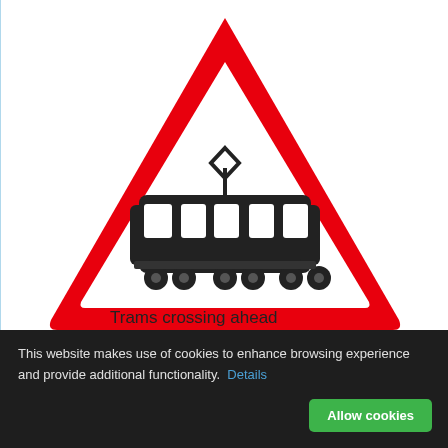[Figure (illustration): Red triangular warning road sign containing a black tram/streetcar silhouette with a diamond-shaped pantograph on top. White background inside the triangle. The sign indicates 'Trams crossing ahead'.]
Trams crossing ahead
This website makes use of cookies to enhance browsing experience and provide additional functionality.  Details
Allow cookies